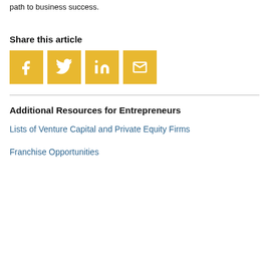path to business success.
Share this article
[Figure (infographic): Four social media share buttons (Facebook, Twitter, LinkedIn, Email) as yellow square icons with white symbols]
Additional Resources for Entrepreneurs
Lists of Venture Capital and Private Equity Firms
Franchise Opportunities